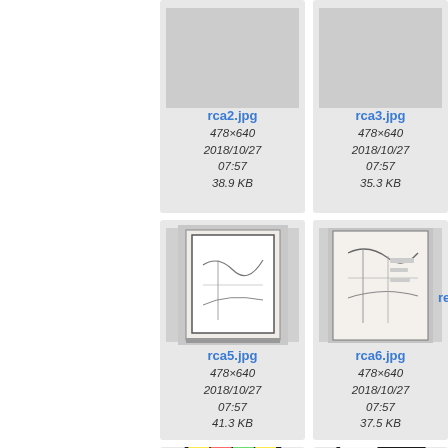[Figure (screenshot): File browser grid view showing image thumbnails with filenames, dimensions, dates, and sizes. Shows rca2.jpg, rca3.jpg (top row, no preview thumbnails), rca5.jpg, rca6.jpg (middle row, with sketch thumbnails), and partial bottom row with colorful sticky-note photos.]
rca2.jpg
478×640
2018/10/27 07:57
38.9 KB
rca3.jpg
478×640
2018/10/27 07:57
35.3 KB
rca5.jpg
478×640
2018/10/27 07:57
41.3 KB
rca6.jpg
478×640
2018/10/27 07:57
37.5 KB